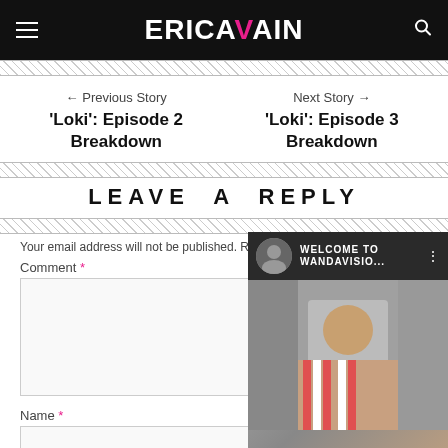ERICAVAIN
← Previous Story
'Loki': Episode 2 Breakdown
Next Story →
'Loki': Episode 3 Breakdown
LEAVE A REPLY
Your email address will not be published. Required fields are marked *
Comment *
Name *
[Figure (screenshot): Overlay showing a video thumbnail with avatar and 'WELCOME TO WANDAVISIO...' title on dark background]